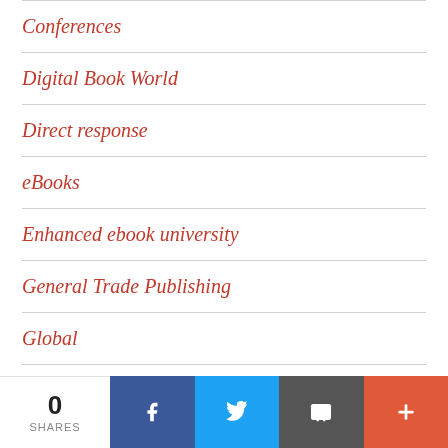Conferences
Digital Book World
Direct response
eBooks
Enhanced ebook university
General Trade Publishing
Global
Industry Events
libraries
0 SHARES | Facebook | Twitter | Email | More